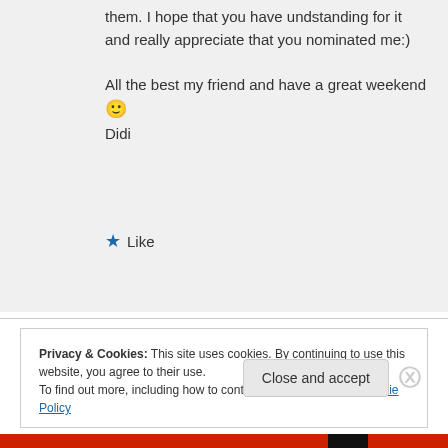them. I hope that you have undstanding for it and really appreciate that you nominated me:)

All the best my friend and have a great weekend 🙂
Didi
★ Like
Log in to Reply
Privacy & Cookies: This site uses cookies. By continuing to use this website, you agree to their use.
To find out more, including how to control cookies, see here: Cookie Policy
Close and accept